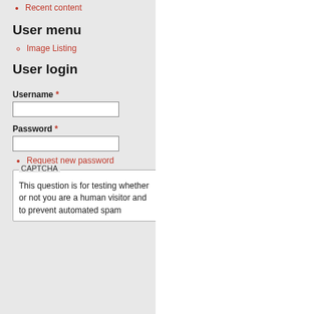Recent content
User menu
Image Listing
User login
Username *
Password *
Request new password
CAPTCHA
This question is for testing whether or not you are a human visitor and to prevent automated spam